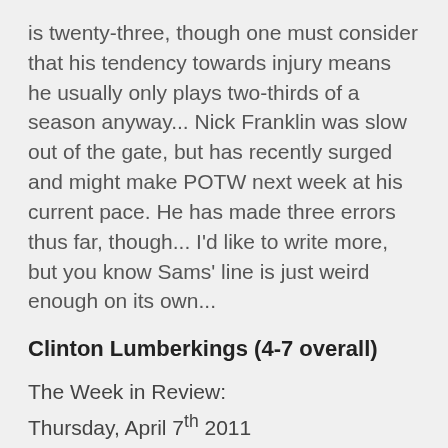is twenty-three, though one must consider that his tendency towards injury means he usually only plays two-thirds of a season anyway... Nick Franklin was slow out of the gate, but has recently surged and might make POTW next week at his current pace. He has made three errors thus far, though... I'd like to write more, but you know Sams' line is just weird enough on its own...
Clinton Lumberkings (4-7 overall)
The Week in Review:
Thursday, April 7th 2011
Burlington 9 (OAK), Clinton 5
W: Long (1-0, 3.00) L: Kohlscheen (0-1, 7.36)
Friday, April 8th 2011
Burlington 2 (OAK 0), Clinton 3 (seven innings)